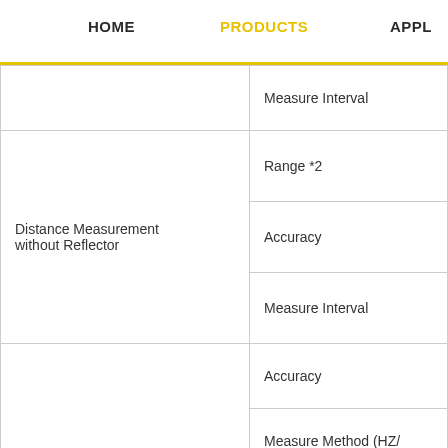HOME   PRODUCTS   APPL
| Category | Sub-parameter |
| --- | --- |
|  | Measure Interval |
| Distance Measurement without Reflector | Range *2 |
| Distance Measurement without Reflector | Accuracy |
| Distance Measurement without Reflector | Measure Interval |
|  | Accuracy |
|  | Measure Method (HZ/ |
|  | Diameter of Encoder D |
| Angle Measurement | Display Resolution |